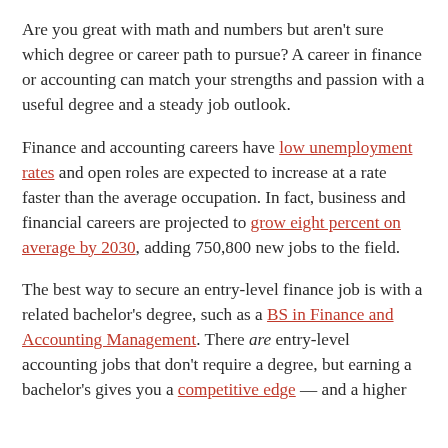Are you great with math and numbers but aren't sure which degree or career path to pursue? A career in finance or accounting can match your strengths and passion with a useful degree and a steady job outlook.
Finance and accounting careers have low unemployment rates and open roles are expected to increase at a rate faster than the average occupation. In fact, business and financial careers are projected to grow eight percent on average by 2030, adding 750,800 new jobs to the field.
The best way to secure an entry-level finance job is with a related bachelor's degree, such as a BS in Finance and Accounting Management. There are entry-level accounting jobs that don't require a degree, but earning a bachelor's gives you a competitive edge — and a higher